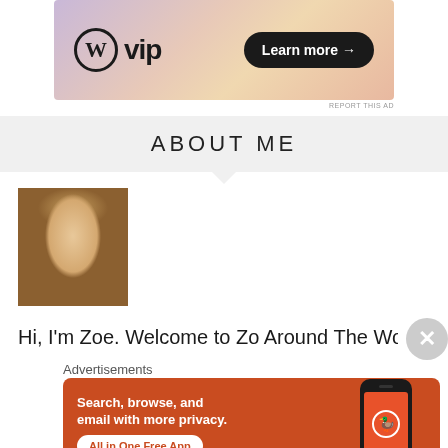[Figure (screenshot): WordPress VIP advertisement banner with logo and 'Learn more' button on colorful abstract background]
REPORT THIS AD
ABOUT ME
[Figure (photo): Profile photo of a woman with long blonde hair, smiling, sitting at a table]
Hi, I'm Zoe. Welcome to Zo Around The World!
Advertisements
[Figure (screenshot): DuckDuckGo advertisement: 'Search, browse, and email with more privacy. All in One Free App' with DuckDuckGo logo and phone mockup]
REPORT THIS AD